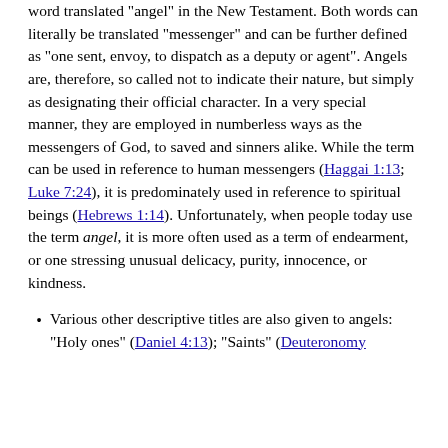word translated "angel" in the New Testament. Both words can literally be translated "messenger" and can be further defined as "one sent, envoy, to dispatch as a deputy or agent". Angels are, therefore, so called not to indicate their nature, but simply as designating their official character. In a very special manner, they are employed in numberless ways as the messengers of God, to saved and sinners alike. While the term can be used in reference to human messengers (Haggai 1:13; Luke 7:24), it is predominately used in reference to spiritual beings (Hebrews 1:14). Unfortunately, when people today use the term angel, it is more often used as a term of endearment, or one stressing unusual delicacy, purity, innocence, or kindness.
Various other descriptive titles are also given to angels: "Holy ones" (Daniel 4:13); "Saints" (Deuteronomy